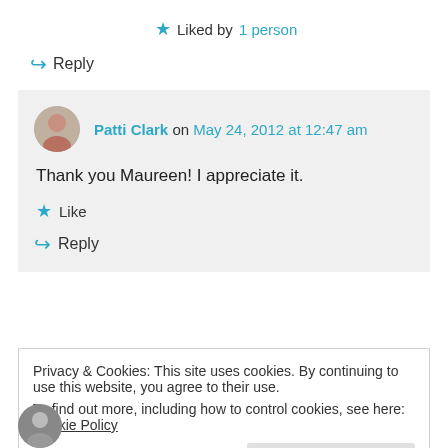★ Liked by 1 person
↪ Reply
Patti Clark on May 24, 2012 at 12:47 am
Thank you Maureen! I appreciate it.
★ Like
↪ Reply
Privacy & Cookies: This site uses cookies. By continuing to use this website, you agree to their use.
To find out more, including how to control cookies, see here: Cookie Policy
Close and accept